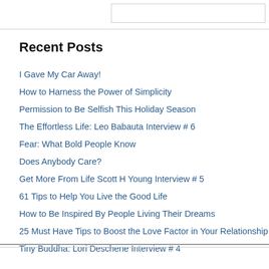Recent Posts
I Gave My Car Away!
How to Harness the Power of Simplicity
Permission to Be Selfish This Holiday Season
The Effortless Life: Leo Babauta Interview # 6
Fear: What Bold People Know
Does Anybody Care?
Get More From Life Scott H Young Interview # 5
61 Tips to Help You Live the Good Life
How to Be Inspired By People Living Their Dreams
25 Must Have Tips to Boost the Love Factor in Your Relationship
Tiny Buddha: Lori Deschene Interview # 4